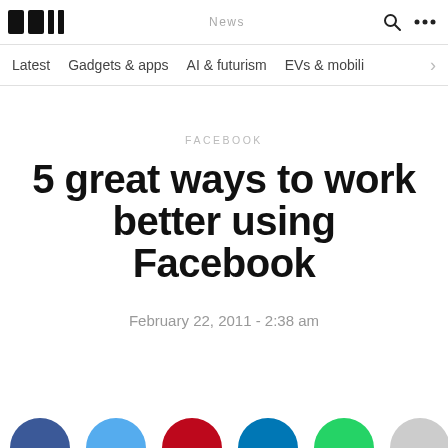TNW News
Latest  Gadgets & apps  AI & futurism  EVs & mobili
FACEBOOK
5 great ways to work better using Facebook
February 22, 2011 - 2:38 am